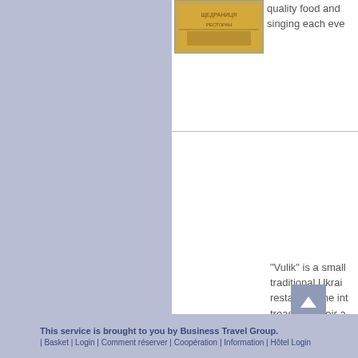[Figure (illustration): Restaurant logo/image with Ukrainian style decoration, warm tones]
quality food and singing each eve
[Figure (logo): Vulik restaurant logo - cartoon character with hat, orange Ukrainian text 'Вулик' on cream/yellow background]
"Vulik" is a small traditional Ukrainian restaurant the int treasured their a can eat like that still complain tha
This service is brought to you by Business Travel Group.
| Basket | Login | Comment réserver | Coopération | Information | Hôtel Login +380 4